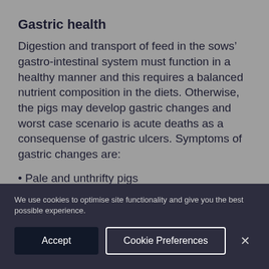Gastric health
Digestion and transport of feed in the sows’ gastro-intestinal system must function in a healthy manner and this requires a balanced nutrient composition in the diets. Otherwise, the pigs may develop gastric changes and worst case scenario is acute deaths as a consequense of gastric ulcers. Symptoms of gastric changes are:
• Pale and unthrifty pigs
We use cookies to optimise site functionality and give you the best possible experience.
Accept | Cookie Preferences | ×